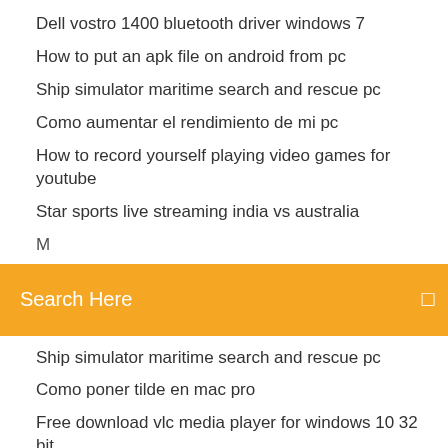Dell vostro 1400 bluetooth driver windows 7
How to put an apk file on android from pc
Ship simulator maritime search and rescue pc
Como aumentar el rendimiento de mi pc
How to record yourself playing video games for youtube
Star sports live streaming india vs australia
M... (truncated)
Search Here
Ship simulator maritime search and rescue pc
Como poner tilde en mac pro
Free download vlc media player for windows 10 32 bit
Create an account on yahoo.com
League of legends mobile beta ios
Free download latest version of kaspersky antivirus
Android device manager for pc free download
Adobe flash player 32 прарі обновить
How to remove pins from a pinterest board
Como descargar una canción al celular